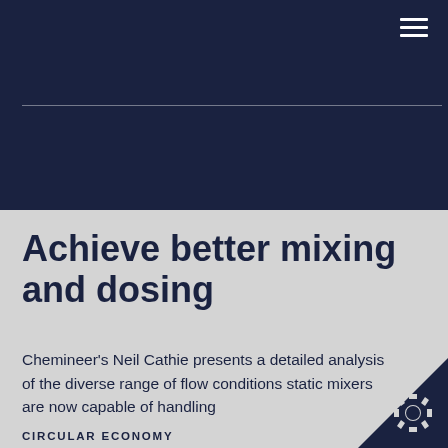Achieve better mixing and dosing
Chemineer's Neil Cathie presents a detailed analysis of the diverse range of flow conditions static mixers are now capable of handling
CIRCULAR ECONOMY